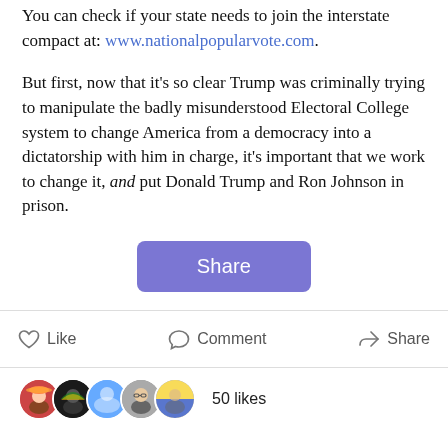You can check if your state needs to join the interstate compact at: www.nationalpopularvote.com.
But first, now that it’s so clear Trump was criminally trying to manipulate the badly misunderstood Electoral College system to change America from a democracy into a dictatorship with him in charge, it’s important that we work to change it, and put Donald Trump and Ron Johnson in prison.
[Figure (other): Share button (purple rounded rectangle with white text 'Share')]
Like   Comment   Share
50 likes